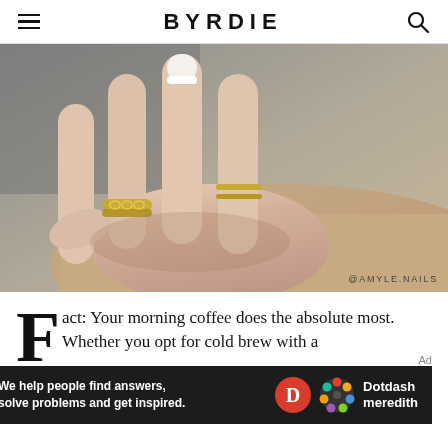BYRDIE
[Figure (photo): Close-up of a hand with French-tip nails wearing decorative gold rings, resting on a tan knit sweater. Credit: @AMYLE.NAILS]
@AMYLE.NAILS
Fact: Your morning coffee does the absolute most. Whether you opt for cold brew with a
[Figure (other): Ad banner: 'We help people find answers, solve problems and get inspired.' with Dotdash Meredith logo]